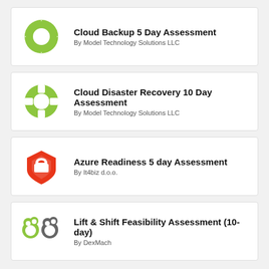[Figure (logo): Green lifesaver ring logo for Cloud Backup 5 Day Assessment by Model Technology Solutions LLC]
Cloud Backup 5 Day Assessment
By Model Technology Solutions LLC
[Figure (logo): Green lifesaver ring logo for Cloud Disaster Recovery 10 Day Assessment by Model Technology Solutions LLC]
Cloud Disaster Recovery 10 Day Assessment
By Model Technology Solutions LLC
[Figure (logo): Red shield logo for Azure Readiness 5 day Assessment by It4biz d.o.o.]
Azure Readiness 5 day Assessment
By It4biz d.o.o.
[Figure (logo): Green and gray cloud/paw logo for Lift & Shift Feasibility Assessment (10-day) by DexMach]
Lift & Shift Feasibility Assessment (10-day)
By DexMach